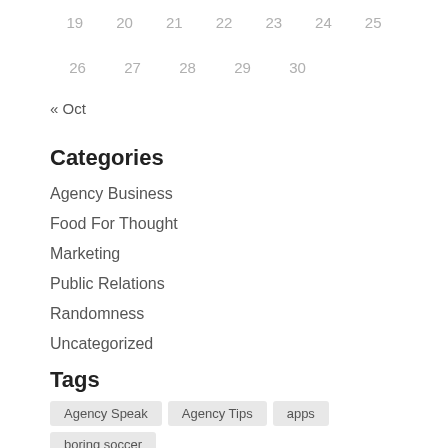| 19 | 20 | 21 | 22 | 23 | 24 | 25 |
| 26 | 27 | 28 | 29 | 30 |  |  |
« Oct
Categories
Agency Business
Food For Thought
Marketing
Public Relations
Randomness
Uncategorized
Tags
Agency Speak
Agency Tips
apps
boring soccer